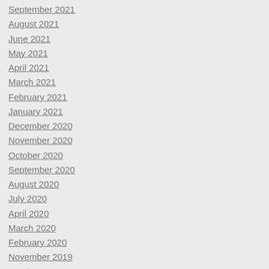September 2021
August 2021
June 2021
May 2021
April 2021
March 2021
February 2021
January 2021
December 2020
November 2020
October 2020
September 2020
August 2020
July 2020
April 2020
March 2020
February 2020
November 2019
October 2019
September 2019
August 2019